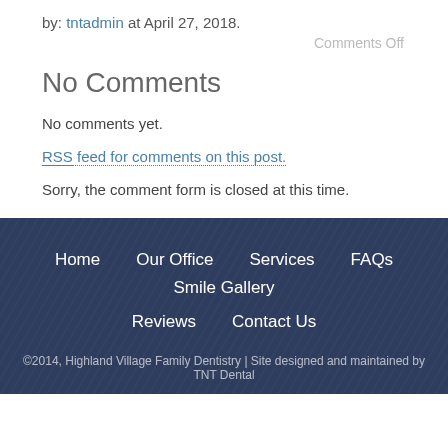by: tntadmin at April 27, 2018.
Comments Off
No Comments
No comments yet.
RSS feed for comments on this post.
Sorry, the comment form is closed at this time.
Home   Our Office   Services   FAQs   Smile Gallery   Reviews   Contact Us   ©2014, Highland Village Family Dentistry | Site designed and maintained by TNT Dental